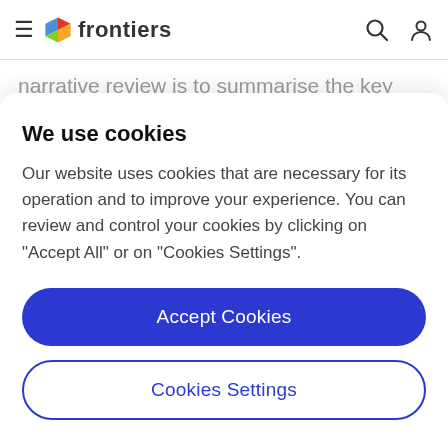frontiers
narrative review is to summarise the key relevant research and practical considerations in this area, as well as to explore some of the common concerns expressed in relation to the use of such approaches. There is a strong physiological rationale supporting the
We use cookies
Our website uses cookies that are necessary for its operation and to improve your experience. You can review and control your cookies by clicking on "Accept All" or on "Cookies Settings".
Accept Cookies
Cookies Settings